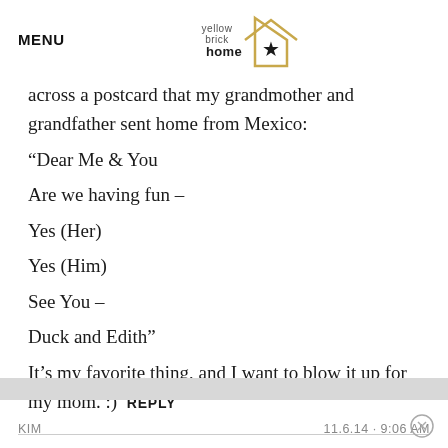MENU | yellow brick home
across a postcard that my grandmother and grandfather sent home from Mexico:
“Dear Me & You

Are we having fun –

Yes (Her)

Yes (Him)

See You –

Duck and Edith”

It’s my favorite thing, and I want to blow it up for my mom. :)  REPLY
KIM   11.6.14 · 9:06 AM